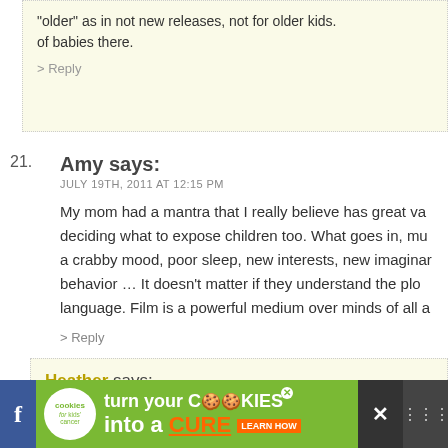"older" as in not new releases, not for older kids. of babies there.
> Reply
21. Amy says:
JULY 19TH, 2011 AT 12:15 PM

My mom had a mantra that I really believe has great va deciding what to expose children too. What goes in, mu a crabby mood, poor sleep, new interests, new imaginar behavior … It doesn't matter if they understand the plo language. Film is a powerful medium over minds of all a
> Reply
Heather says:
JULY 19TH, 2011 AT 12:40 PM

ooh, I hope that's true, I would love it if Annie started
> Reply
[Figure (screenshot): Advertisement banner: cookies for kids cancer - turn your cookies into a cure learn how]